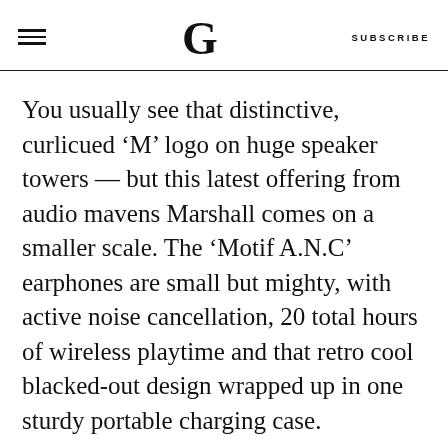G  SUBSCRIBE
You usually see that distinctive, curlicued ‘M’ logo on huge speaker towers — but this latest offering from audio mavens Marshall comes on a smaller scale. The ‘Motif A.N.C’ earphones are small but mighty, with active noise cancellation, 20 total hours of wireless playtime and that retro cool blacked-out design wrapped up in one sturdy portable charging case.
Marshall ‘Motif A.N.C’ Earphones
£179.99